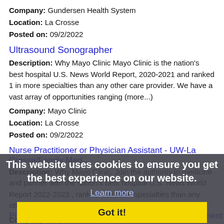Company: Gundersen Health System
Location: La Crosse
Posted on: 09/2/2022
Ultrasound Sonographer
Description: Why Mayo Clinic Mayo Clinic is the nation's best hospital U.S. News World Report, 2020-2021 and ranked 1 in more specialties than any other care provider. We have a vast array of opportunities ranging (more...)
Company: Mayo Clinic
Location: La Crosse
Posted on: 09/2/2022
Nurse Practitioner or Physician Assistant - UW-La Crosse/Family Med...
Description: Why Mayo Clinic. Join the authority in medicine and partner with the nation's best hospital U.S. News World Report 2022-2023 , ranked 1 in more specialties than any other care provider. At Mayo Clinic, (more...)
Company: Mayo Clinic
Location: La Crosse
Posted on: 09/2/2022
This website uses cookies to ensure you get the best experience on our website.
Learn more
Got it!
Physician / Radiology / Wisconsin / Locum or Permanent